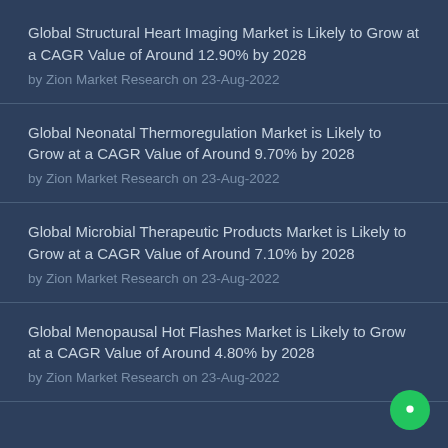Global Structural Heart Imaging Market is Likely to Grow at a CAGR Value of Around 12.90% by 2028
by Zion Market Research on 23-Aug-2022
Global Neonatal Thermoregulation Market is Likely to Grow at a CAGR Value of Around 9.70% by 2028
by Zion Market Research on 23-Aug-2022
Global Microbial Therapeutic Products Market is Likely to Grow at a CAGR Value of Around 7.10% by 2028
by Zion Market Research on 23-Aug-2022
Global Menopausal Hot Flashes Market is Likely to Grow at a CAGR Value of Around 4.80% by 2028
by Zion Market Research on 23-Aug-2022